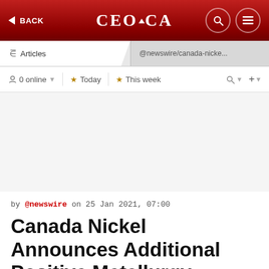CEO.CA — BACK | Articles | @newswire/canada-nicke...
0 online  ★ Today  ★ This week
by @newswire on 25 Jan 2021, 07:00
Canada Nickel Announces Additional Positive Metallurgy Results at Crawford Nickel